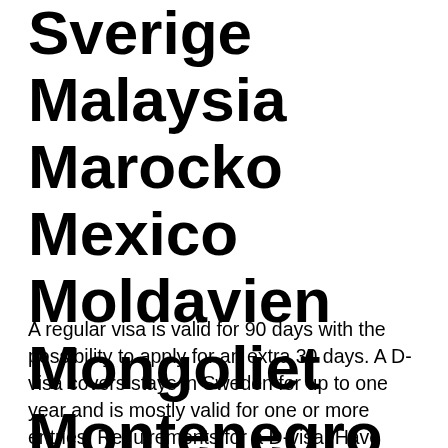Sverige Malaysia Marocko Mexico Moldavien Mongoliet Montenegro Nederländerna
A regular visa is valid for 90 days with the possibility to apply for an extra 30 days. A D-visa covers stays in Sweden for up to one year and is mostly valid for one or more entries. Requirements for a D-visa. Have received an invitation from the person you